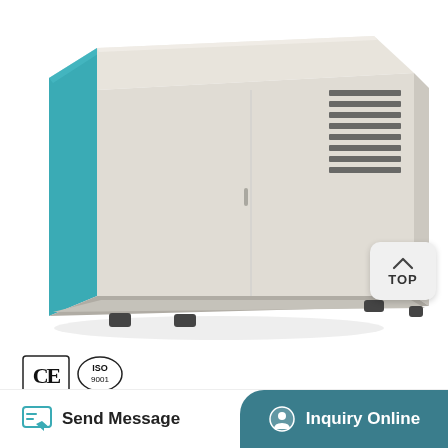[Figure (photo): A white/cream colored rectangular laboratory or industrial equipment unit (likely an incubator or refrigeration unit) shown at an angle. The unit has a teal/blue panel on the left side, ventilation grilles on the upper right side, and black rubber feet at the bottom. The equipment sits on a white background.]
[Figure (other): A 'TOP' navigation button — rounded square icon with an upward chevron arrow above the word TOP]
[Figure (logo): CE certification mark and ISO certification circular logo]
Send Message
Inquiry Online